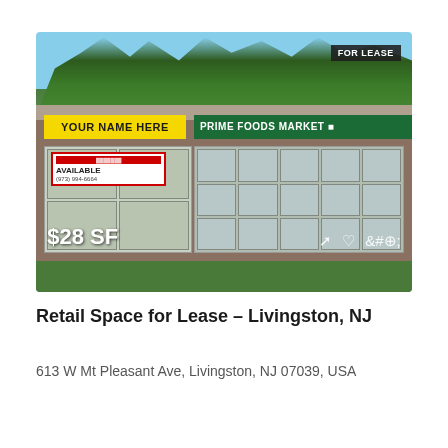[Figure (photo): Exterior photo of a retail strip center showing a brick building with a yellow 'YOUR NAME HERE' sign, a green 'PRIME FOODS MARKET' sign, an 'AVAILABLE' lease sign in the window, and a 'FOR LEASE' badge in the upper right. Price overlay shows '$28 SF' in white text.]
Retail Space for Lease – Livingston, NJ
613 W Mt Pleasant Ave, Livingston, NJ 07039, USA